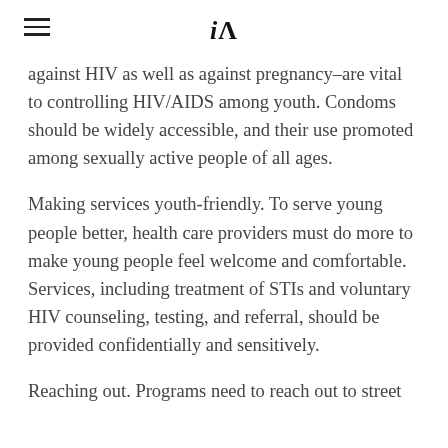iA (logo with hamburger menu)
against HIV as well as against pregnancy–are vital to controlling HIV/AIDS among youth. Condoms should be widely accessible, and their use promoted among sexually active people of all ages.
Making services youth-friendly. To serve young people better, health care providers must do more to make young people feel welcome and comfortable. Services, including treatment of STIs and voluntary HIV counseling, testing, and referral, should be provided confidentially and sensitively.
Reaching out. Programs need to reach out to street